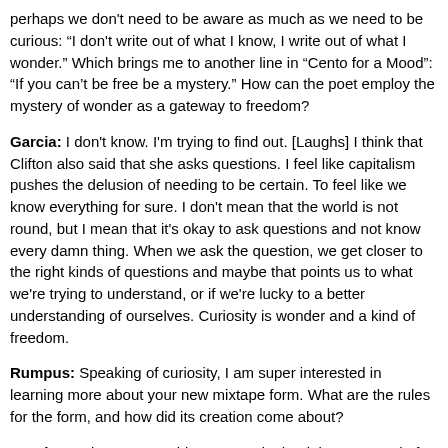perhaps we don't need to be aware as much as we need to be curious: “I don't write out of what I know, I write out of what I wonder.” Which brings me to another line in “Cento for a Mood”: “If you can't be free be a mystery.” How can the poet employ the mystery of wonder as a gateway to freedom?
Garcia: I don't know. I'm trying to find out. [Laughs] I think that Clifton also said that she asks questions. I feel like capitalism pushes the delusion of needing to be certain. To feel like we know everything for sure. I don't mean that the world is not round, but I mean that it's okay to ask questions and not know every damn thing. When we ask the question, we get closer to the right kinds of questions and maybe that points us to what we're trying to understand, or if we're lucky to a better understanding of ourselves. Curiosity is wonder and a kind of freedom.
Rumpus: Speaking of curiosity, I am super interested in learning more about your new mixtape form. What are the rules for the form, and how did its creation come about?
Garcia: A mixtape resembles a cento in that it is composed of lines borrowed from other poets, but different because it includes lines from fiction, nonfiction, rap lyrics, and other forms of literature. A